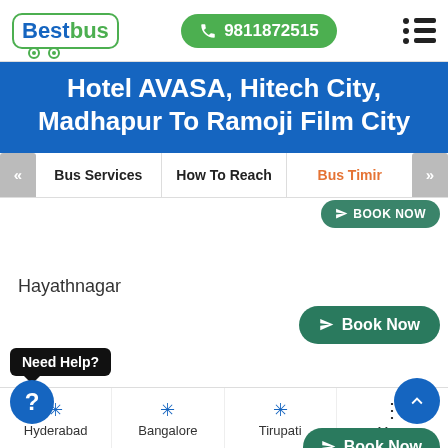[Figure (screenshot): BestBus app header with logo, phone number 9811872515, and hamburger menu]
Hotel AVASA, Hitech City, Madhapur To Ramoji Film City
Bus Services | How To Reach | Bus Timir (tabs)
BOOK NOW (partial button at top)
Hayathnagar
Book Now
Need Help?
gar X Roads
Book Now
Hyderabad | Bangalore | Tirupati | More (bottom navigation)